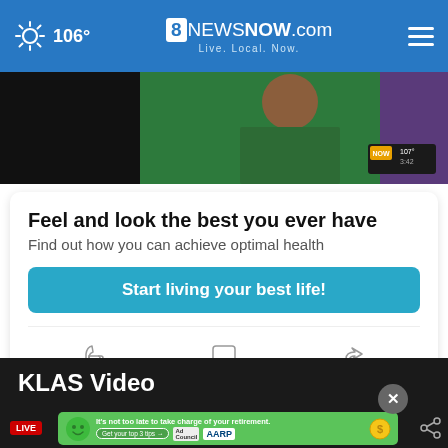106° | 8NewSNOW.com Live. Local. Now.
[Figure (screenshot): Video thumbnail showing a news anchor in a green patterned top, with a NOW channel overlay in the top right corner showing 107° and 3:42]
Feel and look the best you ever have
Find out how you can achieve optimal health
Start living your best life!
KLAS Video
[Figure (screenshot): AARP advertisement banner: It's not too late to take charge of your retirement. Get your top 3 tips → Ad Council AARP Real Possibilities, with green smiley face character and coin icon]